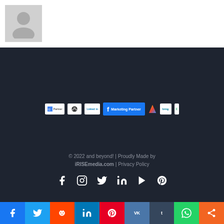[Figure (illustration): Generic user avatar placeholder — grey silhouette on light grey background]
[Figure (illustration): Partner logos row: Google Partner, headphone icon, LinkedIn, Facebook Marketing Partner badge, Google Ads triangle, Bing logo, CJ/Commission Junction logo]
© 2022 and beyond! | Proudly Made by iRISEmedia.com | Privacy Policy
[Figure (illustration): Social media icons row: Facebook, Instagram, Twitter, LinkedIn, YouTube, Pinterest]
[Figure (illustration): reCAPTCHA widget in bottom-right corner]
[Figure (illustration): Social share button bar at bottom: Facebook, Twitter, Reddit, LinkedIn, Pinterest, VK, Tumblr, WhatsApp, Share]